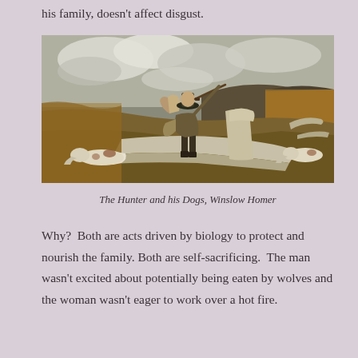his family, doesn't affect disgust.
[Figure (illustration): Painting: The Hunter and his Dogs by Winslow Homer. A hunter carrying a rifle and game on his back steps over a large fallen log, with two hunting dogs nearby. The landscape shows autumn-colored hills and a cloudy sky.]
The Hunter and his Dogs, Winslow Homer
Why?  Both are acts driven by biology to protect and nourish the family. Both are self-sacrificing.  The man wasn't excited about potentially being eaten by wolves and the woman wasn't eager to work over a hot fire.